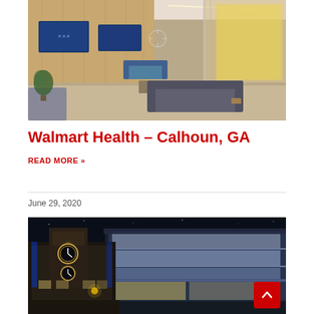[Figure (photo): Interior of a Walmart Health clinic waiting room with wood panel walls, blue TV screens, upholstered seating, and a yellow accent wall visible through glass in the background.]
Walmart Health – Calhoun, GA
READ MORE »
June 29, 2020
[Figure (photo): Night-time exterior photograph of a large modern commercial building with glass facade, illuminated storefront, and an ornate historic building visible to the left.]